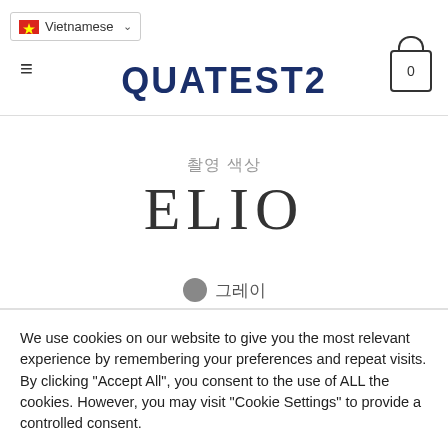Vietnamese | QUATEST2 | 0
촬영 색상
ELIO
● 그레이
We use cookies on our website to give you the most relevant experience by remembering your preferences and repeat visits. By clicking "Accept All", you consent to the use of ALL the cookies. However, you may visit "Cookie Settings" to provide a controlled consent.
Cookie Settings | Accept All